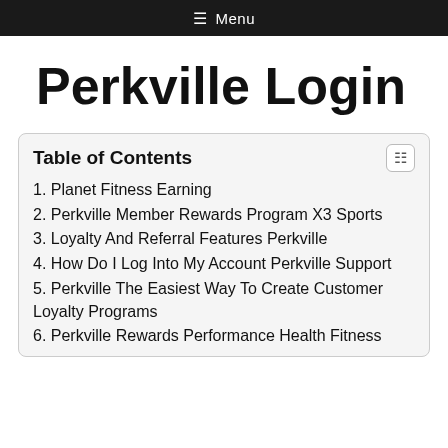Menu
Perkville Login
Table of Contents
1. Planet Fitness Earning
2. Perkville Member Rewards Program X3 Sports
3. Loyalty And Referral Features Perkville
4. How Do I Log Into My Account Perkville Support
5. Perkville The Easiest Way To Create Customer Loyalty Programs
6. Perkville Rewards Performance Health Fitness